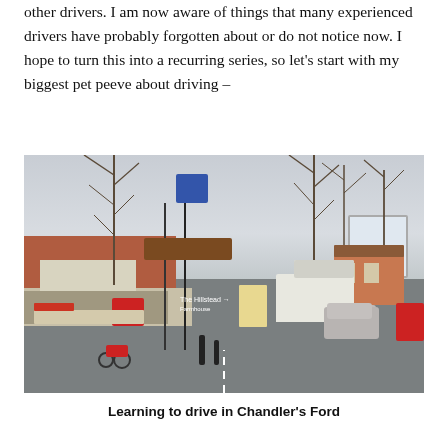other drivers. I am now aware of things that many experienced drivers have probably forgotten about or do not notice now. I hope to turn this into a recurring series, so let's start with my biggest pet peeve about driving –
[Figure (photo): Street scene photo showing a busy road junction in Chandler's Ford with cars, a motorcycle, road signs including a brown tourist sign, trees, and shops in the background.]
Learning to drive in Chandler's Ford